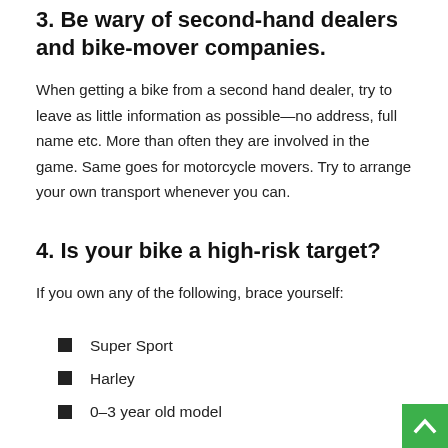3. Be wary of second-hand dealers and bike-mover companies.
When getting a bike from a second hand dealer, try to leave as little information as possible—no address, full name etc. More than often they are involved in the game. Same goes for motorcycle movers. Try to arrange your own transport whenever you can.
4. Is your bike a high-risk target?
If you own any of the following, brace yourself:
Super Sport
Harley
0–3 year old model
These are highest on the “shopping list” for thieves. Anything that is 7+ years old is unlikely to get stolen. Still, that doesn